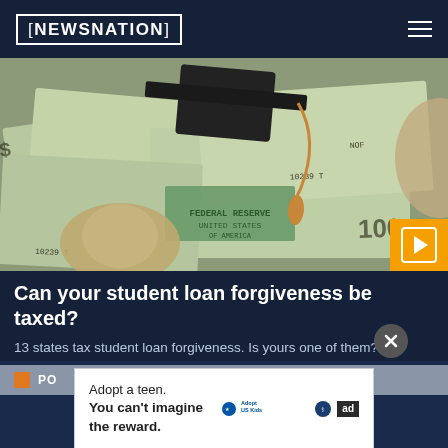NEWSNATION
[Figure (photo): Graduation cap sitting on top of scattered US $100 dollar bills, symbolizing student loan debt and education costs]
Can your student loan forgiveness be taxed?
13 states tax student loan forgiveness. Is yours one of them?
PO[STED]
[Figure (other): Advertisement for Adopt US Kids: 'Adopt a teen. You can't imagine the reward.' with Adopt US Kids logo and ad label]